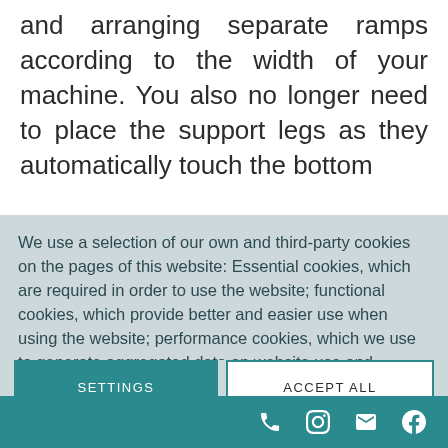and arranging separate ramps according to the width of your machine. You also no longer need to place the support legs as they automatically touch the bottom
We use a selection of our own and third-party cookies on the pages of this website: Essential cookies, which are required in order to use the website; functional cookies, which provide better and easier use when using the website; performance cookies, which we use to generate aggregated data on website use and statistics; and marketing cookies, which are used to display relevant content and
SETTINGS
ACCEPT ALL
[phone icon] [instagram icon] [email icon] [facebook icon]